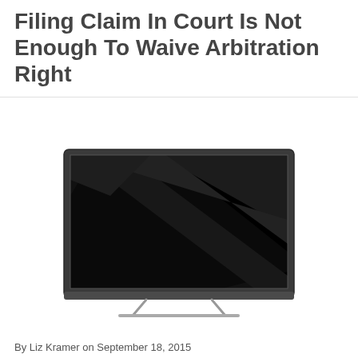Filing Claim In Court Is Not Enough To Waive Arbitration Right
[Figure (photo): Illustration of a flat-screen television with a black screen and silver stand, showing a diagonal glare/reflection on the screen.]
By Liz Kramer on September 18, 2015